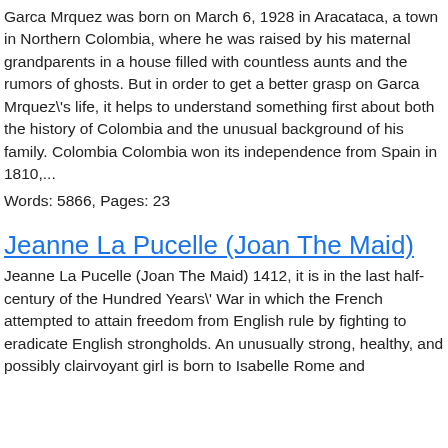Garca Mrquez was born on March 6, 1928 in Aracataca, a town in Northern Colombia, where he was raised by his maternal grandparents in a house filled with countless aunts and the rumors of ghosts. But in order to get a better grasp on Garca Mrquez\'s life, it helps to understand something first about both the history of Colombia and the unusual background of his family. Colombia Colombia won its independence from Spain in 1810,...
Words: 5866, Pages: 23
Jeanne La Pucelle (Joan The Maid)
Jeanne La Pucelle (Joan The Maid) 1412, it is in the last half-century of the Hundred Years\' War in which the French attempted to attain freedom from English rule by fighting to eradicate English strongholds. An unusually strong, healthy, and possibly clairvoyant girl is born to Isabelle Rome and